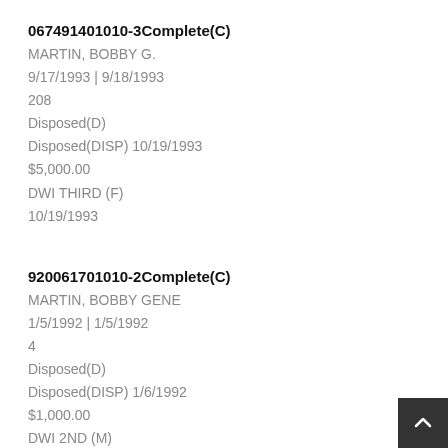067491401010-3Complete(C)
MARTIN, BOBBY G.
9/17/1993 | 9/18/1993
208
Disposed(D)
Disposed(DISP) 10/19/1993
$5,000.00
DWI THIRD (F)
10/19/1993
920061701010-2Complete(C)
MARTIN, BOBBY GENE
1/5/1992 | 1/5/1992
4
Disposed(D)
Disposed(DISP) 1/6/1992
$1,000.00
DWI 2ND (M)
1/6/1992